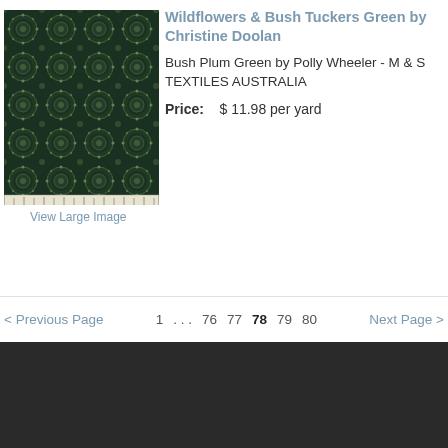[Figure (photo): Dark green fabric with circular floral/botanical pattern — Wildflowers & Bush Tuckers Green textile swatch with a ruler strip at the bottom]
Wildflowers & Bush Tuckers Green by Christine Doolan
Bush Plum Green by Polly Wheeler - M & S TEXTILES AUSTRALIA
Price: $ 11.98 per yard
View Large Image
< Previous Page   1 . . . 76  77  78  79  80   Next Page >
Categories
Gift Cards